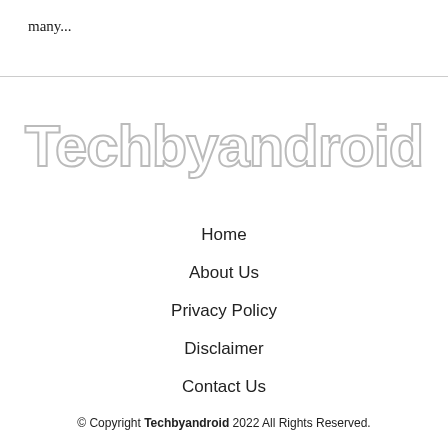many...
[Figure (logo): Techbyandroid logo text in large outlined/hollow font style]
Home
About Us
Privacy Policy
Disclaimer
Contact Us
© Copyright Techbyandroid 2022 All Rights Reserved.